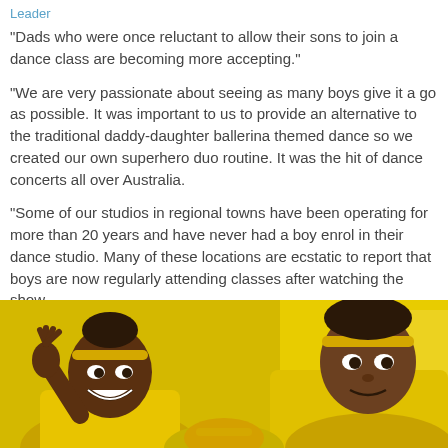Leader
"Dads who were once reluctant to allow their sons to join a dance class are becoming more accepting."
"We are very passionate about seeing as many boys give it a go as possible. It was important to us to provide an alternative to the traditional daddy-daughter ballerina themed dance so we created our own superhero duo routine. It was the hit of dance concerts all over Australia.
"Some of our studios in regional towns have been operating for more than 20 years and have never had a boy enrol in their dance studio. Many of these locations are ecstatic to report that boys are now regularly attending classes after watching the show.
[Figure (photo): Two young people wearing yellow outfits and yellow headbands, smiling and raising their hands, with a yellow background. A third person is partially visible at the bottom.]